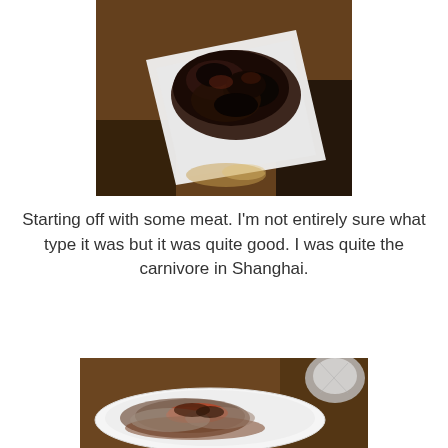[Figure (photo): A white square plate holding dark braised/stewed meat dish, placed on a wooden table surface, photographed from above at an angle.]
Starting off with some meat.  I'm not entirely sure what type it was but it was quite good.  I was quite the carnivore in Shanghai.
[Figure (photo): A white round plate with a dark braised meat or fish dish with reddish sauce, on a wooden table with a metallic object visible in the background.]